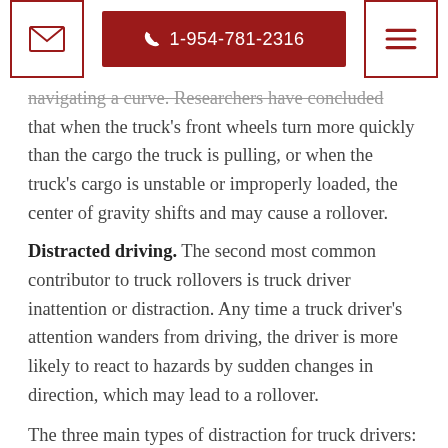[envelope icon] 1-954-781-2316 [menu icon]
navigating a curve. Researchers have concluded that when the truck's front wheels turn more quickly than the cargo the truck is pulling, or when the truck's cargo is unstable or improperly loaded, the center of gravity shifts and may cause a rollover.
Distracted driving. The second most common contributor to truck rollovers is truck driver inattention or distraction. Any time a truck driver's attention wanders from driving, the driver is more likely to react to hazards by sudden changes in direction, which may lead to a rollover.
The three main types of distraction for truck drivers: